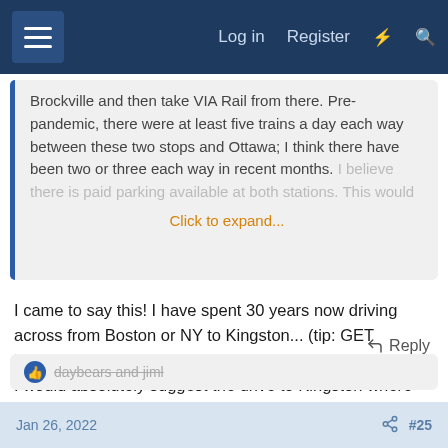Log in  Register  [lightning icon]  [search icon]
Brockville and then take VIA Rail from there. Pre-pandemic, there were at least five trains a day each way between these two stops and Ottawa; I think there have been two or three each way in recent months. I believe there is paid parking available at both stations. This would
Click to expand...
I came to say this! I have spent 30 years now driving across from Boston or NY to Kingston... (tip: GET NEXUS!)
I would absolutely suggest the drive to Kingston where you can park at the VIA station and train to Ottawa which I have done and was great. Good way to get to Montreal too. 🙂
← Reply
daybears and jiml
Jan 26, 2022   [share icon]   #25